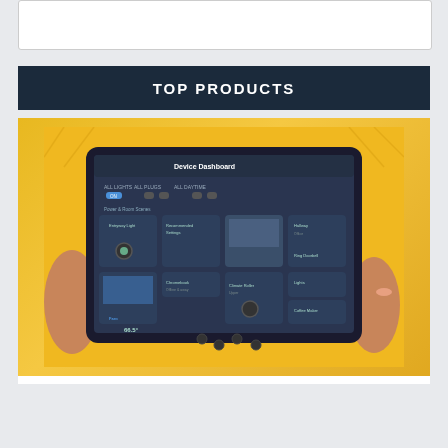[Figure (screenshot): White search/input box at top of page]
TOP PRODUCTS
[Figure (photo): Person wearing yellow top holding an Amazon Fire HD tablet showing Device Dashboard smart home controls]
Forget iPads: Amazon Just Dropped Prices on Its Brand New Fire HD Tablets To Just $45 (Updated)